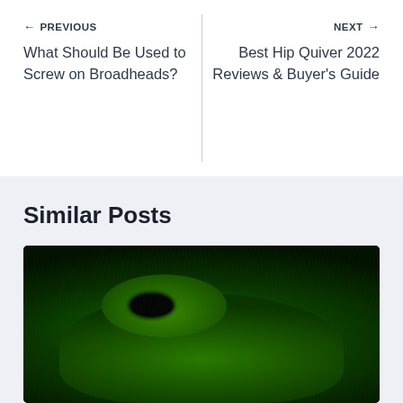← PREVIOUS
What Should Be Used to Screw on Broadheads?
NEXT →
Best Hip Quiver 2022 Reviews & Buyer's Guide
Similar Posts
[Figure (photo): Night vision green-tinted close-up photo of a small furry animal (appears to be a rodent or groundhog) looking toward the camera]